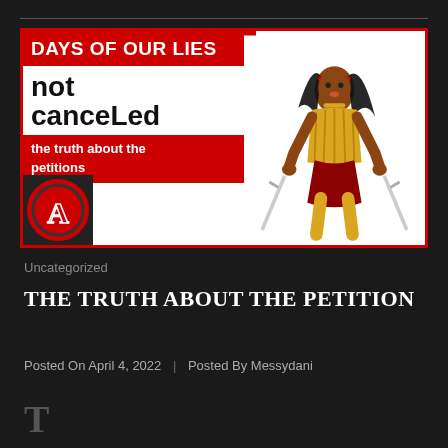[Figure (illustration): Blog post thumbnail: comic-style illustration of a Black female superhero holding two swords, wearing gold and red armor. Left side has red background with text 'DAYS OF OUR LIES', 'not canceLed', 'the truth about the petitions'. Bottom left shows an Avengers-style logo with letter A in a circle.]
Uncategorized
THE TRUTH ABOUT THE PETITION
Posted On April 4, 2022  |  Posted By Messydani
T